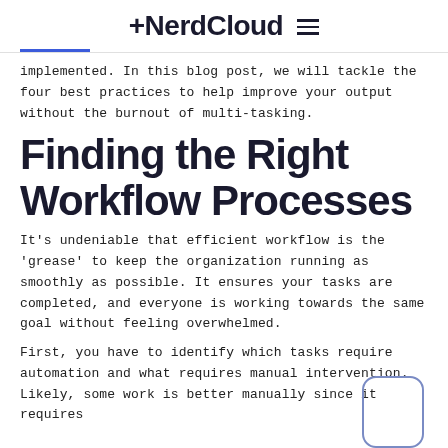+NerdCloud
implemented. In this blog post, we will tackle the four best practices to help improve your output without the burnout of multi-tasking.
Finding the Right Workflow Processes
It's undeniable that efficient workflow is the 'grease' to keep the organization running as smoothly as possible. It ensures your tasks are completed, and everyone is working towards the same goal without feeling overwhelmed.
First, you have to identify which tasks require automation and what requires manual intervention. Likely, some work is better manually since it requires